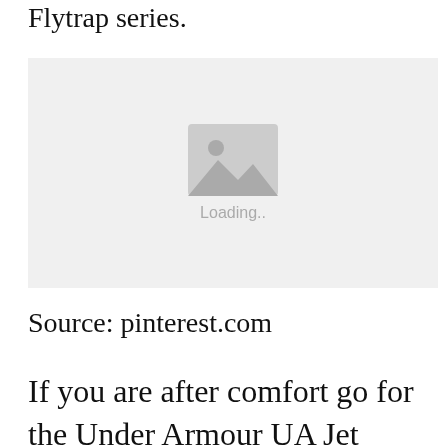Flytrap series.
[Figure (photo): Image placeholder with loading icon and text 'Loading..']
Source: pinterest.com
If you are after comfort go for the Under Armour UA Jet 2017. How they perform what